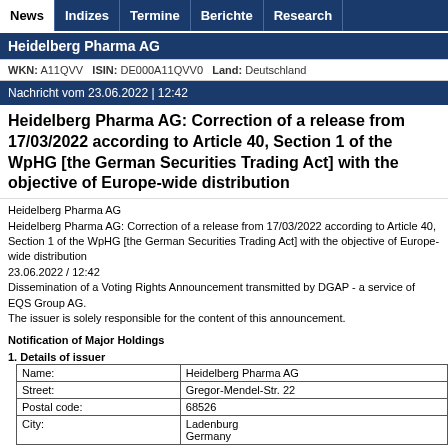News | Indizes | Termine | Berichte | Research
Heidelberg Pharma AG
WKN: A11QVV  ISIN: DE000A11QVV0  Land: Deutschland
Nachricht vom 23.06.2022 | 12:42
Heidelberg Pharma AG: Correction of a release from 17/03/2022 according to Article 40, Section 1 of the WpHG [the German Securities Trading Act] with the objective of Europe-wide distribution
Heidelberg Pharma AG
Heidelberg Pharma AG: Correction of a release from 17/03/2022 according to Article 40, Section 1 of the WpHG [the German Securities Trading Act] with the objective of Europe-wide distribution
23.06.2022 / 12:42
Dissemination of a Voting Rights Announcement transmitted by DGAP - a service of EQS Group AG.
The issuer is solely responsible for the content of this announcement.
Notification of Major Holdings
1. Details of issuer
| Name: | Heidelberg Pharma AG |
| Street: | Gregor-Mendel-Str. 22 |
| Postal code: | 68526 |
| City: | Ladenburg
Germany |